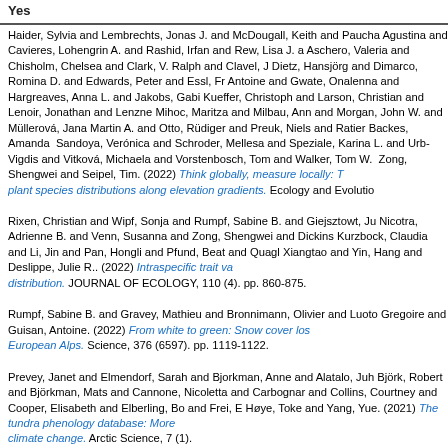Yes
Haider, Sylvia and Lembrechts, Jonas J. and McDougall, Keith and Paucha... Agustina and Cavieres, Lohengrin A. and Rashid, Irfan and Rew, Lisa J. a... Aschero, Valeria and Chisholm, Chelsea and Clark, V. Ralph and Clavel, J... Dietz, Hansjörg and Dimarco, Romina D. and Edwards, Peter and Essl, Fr... Antoine and Gwate, Onalenna and Hargreaves, Anna L. and Jakobs, Gabi... Kueffer, Christoph and Larson, Christian and Lenoir, Jonathan and Lenzne... Mihoc, Maritza and Milbau, Ann and Morgan, John W. and Müllerová, Jana... Martin A. and Otto, Rüdiger and Preuk, Niels and Ratier Backes, Amanda ... Sandoya, Verónica and Schroder, Mellesa and Speziale, Karina L. and Urb... Vigdis and Vitková, Michaela and Vorstenbosch, Tom and Walker, Tom W. ... Zong, Shengwei and Seipel, Tim. (2022) Think globally, measure locally: T... plant species distributions along elevation gradients. Ecology and Evolutio...
Rixen, Christian and Wipf, Sonja and Rumpf, Sabine B. and Giejsztowt, Ju... Nicotra, Adrienne B. and Venn, Susanna and Zong, Shengwei and Dickins... Kurzbock, Claudia and Li, Jin and Pan, Hongli and Pfund, Beat and Quagl... Xiangtao and Yin, Hang and Deslippe, Julie R.. (2022) Intraspecific trait va... distribution. JOURNAL OF ECOLOGY, 110 (4). pp. 860-875.
Rumpf, Sabine B. and Gravey, Mathieu and Bronnimann, Olivier and Luoto... Gregoire and Guisan, Antoine. (2022) From white to green: Snow cover los... European Alps. Science, 376 (6597). pp. 1119-1122.
Prevey, Janet and Elmendorf, Sarah and Bjorkman, Anne and Alatalo, Juh... Björk, Robert and Björkman, Mats and Cannone, Nicoletta and Carbognar... and Collins, Courtney and Cooper, Elisabeth and Elberling, Bo and Frei, E... Høye, Toke and Yang, Yue. (2021) The tundra phenology database: More ... climate change. Arctic Science, 7 (1).